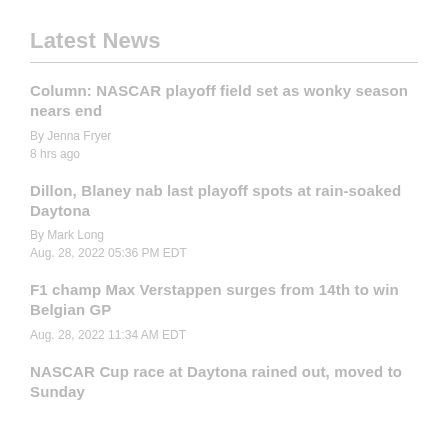Latest News
Column: NASCAR playoff field set as wonky season nears end
By Jenna Fryer
8 hrs ago
Dillon, Blaney nab last playoff spots at rain-soaked Daytona
By Mark Long
Aug. 28, 2022 05:36 PM EDT
F1 champ Max Verstappen surges from 14th to win Belgian GP
Aug. 28, 2022 11:34 AM EDT
NASCAR Cup race at Daytona rained out, moved to Sunday